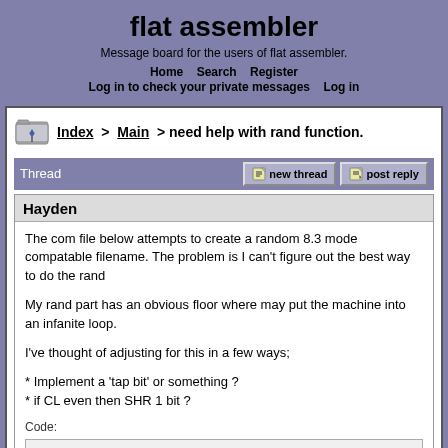flat assembler
Message board for the users of flat assembler.
Home   Search   Register   Log in to check your private messages   Log in
Index > Main > need help with rand function.
Thread   new thread   post reply
Hayden
The com file below attempts to create a random 8.3 mode compatable filename. The problem is I can't figure out the best way to do the rand

My rand part has an obvious floor where may put the machine into an infanite loop.

I've thought of adjusting for this in a few ways;

* Implement a 'tap bit' or something ?
* if CL even then SHR 1 bit ?

Code: